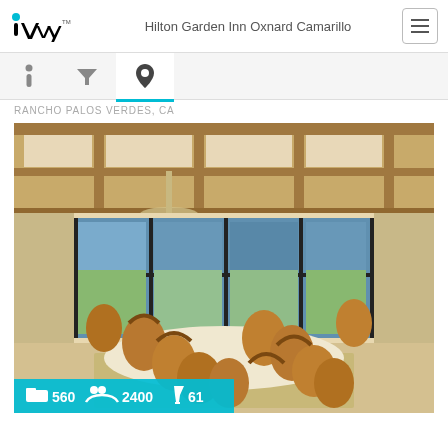iVvy — Hilton Garden Inn Oxnard Camarillo
RANCHO PALOS VERDES, CA
[Figure (photo): Conference room with a long oval white table surrounded by brown leather chairs on wheels, coffered wood ceiling with pendant lights, floor-to-ceiling black-framed windows showing a view of the sea at dusk. Overlaid cyan badge shows: bed icon 560, people icon 2400, cocktail icon 61.]